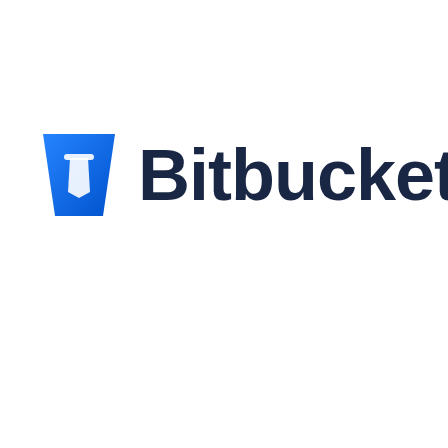[Figure (logo): Bitbucket logo: a blue gradient bucket/trapezoid icon with a white bucket shape inside, followed by the text 'Bitbucket' in dark navy bold sans-serif font]